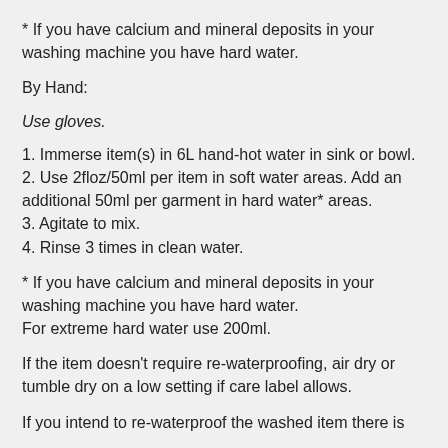* If you have calcium and mineral deposits in your washing machine you have hard water.
By Hand:
Use gloves.
1. Immerse item(s) in 6L hand-hot water in sink or bowl.
2. Use 2floz/50ml per item in soft water areas. Add an additional 50ml per garment in hard water* areas.
3. Agitate to mix.
4. Rinse 3 times in clean water.
* If you have calcium and mineral deposits in your washing machine you have hard water.
For extreme hard water use 200ml.
If the item doesn’t require re-waterproofing, air dry or tumble dry on a low setting if care label allows.
If you intend to re-waterproof the washed item there is